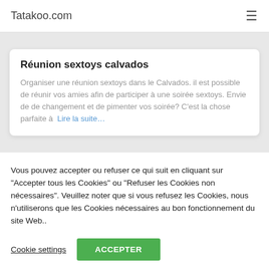Tatakoo.com
Réunion sextoys calvados
Organiser une réunion sextoys dans le Calvados. il est possible de réunir vos amies afin de participer à une soirée sextoys. Envie de de changement et de pimenter vos soirée? C'est la chose parfaite à  Lire la suite…
Vous pouvez accepter ou refuser ce qui suit en cliquant sur "Accepter tous les Cookies" ou "Refuser les Cookies non nécessaires". Veuillez noter que si vous refusez les Cookies, nous n'utiliserons que les Cookies nécessaires au bon fonctionnement du site Web..
Cookie settings
ACCEPTER